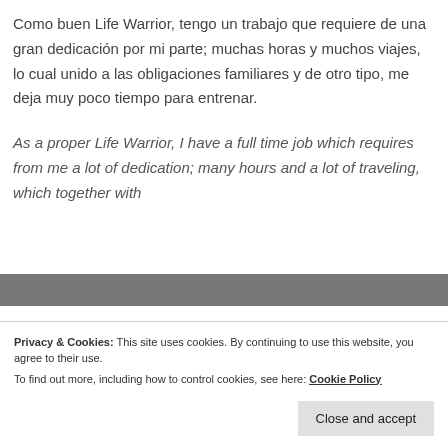Como buen Life Warrior, tengo un trabajo que requiere de una gran dedicación por mi parte; muchas horas y muchos viajes, lo cual unido a las obligaciones familiares y de otro tipo, me deja muy poco tiempo para entrenar.
As a proper Life Warrior, I have a full time job which requires from me a lot of dedication; many hours and a lot of traveling, which together with
Privacy & Cookies: This site uses cookies. By continuing to use this website, you agree to their use.
To find out more, including how to control cookies, see here: Cookie Policy